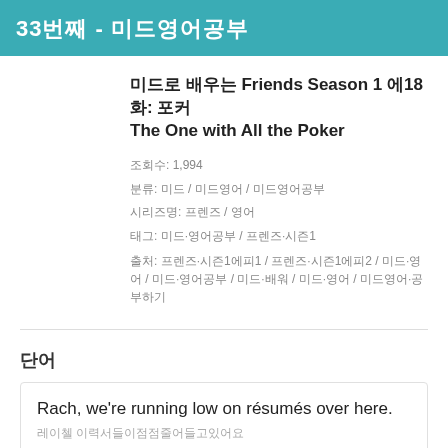33번째 - 미드영어공부
미드로 배우는 Friends Season 1 에18화: 포커 The One with All the Poker
조회수: 1,994
분류: 미드 / 미드영어 / 미드영어공부
시리즈명: 프렌즈 / 영어
태그: 미드·영어공부 / 프렌즈·시즌1
출처: 프렌즈·시즌1에피1 / 프렌즈·시즌1에피2 / 미드·영어 / 미드·영어공부 / 미드·배워 / 미드·영어 / 미드영어·공부·하기
단어
Rach, we're running low on résumés over here.
레이첼 이력서들이점점줄어들고있어요
Do you really want a job with Popular Mechanics?
당신정말로인기역학과관련된직업을원하시나요